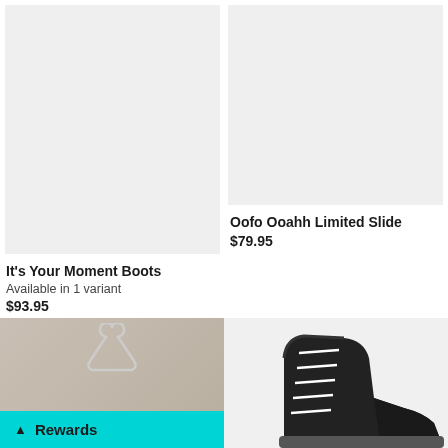[Figure (photo): Product image placeholder for It's Your Moment Boots - light gray background]
[Figure (photo): Product image placeholder for Oofo Ooahh Limited Slide - light gray background]
Oofo Ooahh Limited Slide
$79.95
It's Your Moment Boots
Available in 1 variant
$93.95
[Figure (photo): Socks product on hanger with wooden background, with teal Rewards bar overlay]
[Figure (photo): Black high-top sneaker with white laces, partial view]